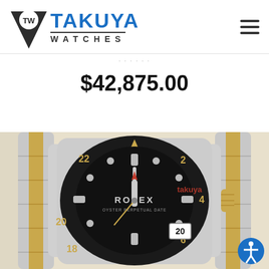TAKUYA WATCHES
$42,875.00
[Figure (photo): Close-up photo of a Rolex GMT-Master II watch with two-tone steel and yellow gold Oyster bracelet, black ceramic bezel with gold numerals 18, 20, 22, black dial with luminous hour markers, crown and date window showing 20. 'takuya' watermark in red text on the right side. 'ROLEX OYSTER PERPETUAL DATE' text on dial.]